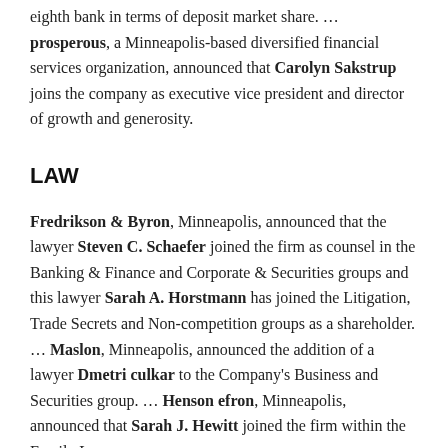eighth bank in terms of deposit market share. … prosperous, a Minneapolis-based diversified financial services organization, announced that Carolyn Sakstrup joins the company as executive vice president and director of growth and generosity.
LAW
Fredrikson & Byron, Minneapolis, announced that the lawyer Steven C. Schaefer joined the firm as counsel in the Banking & Finance and Corporate & Securities groups and this lawyer Sarah A. Horstmann has joined the Litigation, Trade Secrets and Non-competition groups as a shareholder. … Maslon, Minneapolis, announced the addition of a lawyer Dmetri culkar to the Company's Business and Securities group. … Henson efron, Minneapolis, announced that Sarah J. Hewitt joined the firm within the Family Law group.
MANUFACTURING